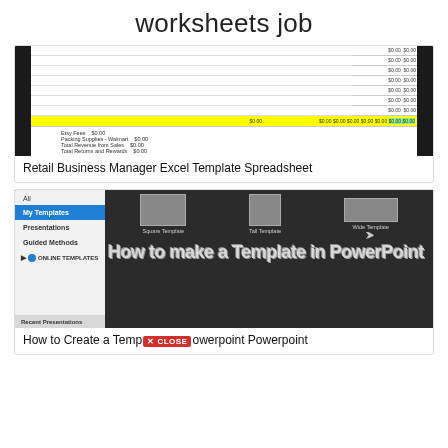worksheets job
[Figure (screenshot): Screenshot of a Retail Business Manager Excel Template Spreadsheet showing a grid with yellow highlighted row containing $0.00 values, and a summary section below with Etsy Fees, Packing Supplies - Walmart, Total Revenue from Sales, Total Returns and Rewards all showing $0.00]
Retail Business Manager Excel Template Spreadsheet
[Figure (screenshot): Screenshot of PowerPoint showing a template selection interface with sidebar menu (All, My Templates highlighted in blue, Presentations, Guided Methods, ONLINE TEMPLATES) and template preview area with Square Template, Tall Template, Wide Template options, and large text reading 'How to make a Template in PowerPoint']
How to Create a Temp× CLOSEowerpoint Powerpoint